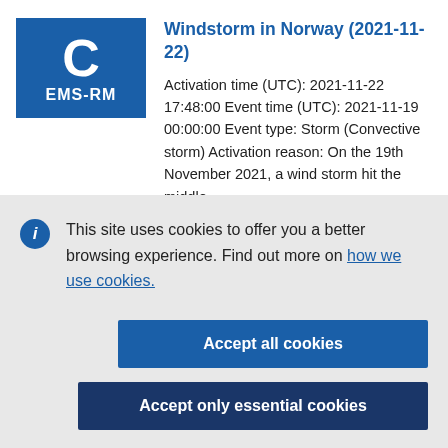Windstorm in Norway (2021-11-22)
Activation time (UTC): 2021-11-22 17:48:00 Event time (UTC): 2021-11-19 00:00:00 Event type: Storm (Convective storm) Activation reason: On the 19th November 2021, a wind storm hit the middle
This site uses cookies to offer you a better browsing experience. Find out more on how we use cookies.
Accept all cookies
Accept only essential cookies